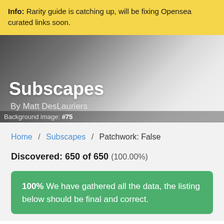Info: Rarity guide is catching up, will be fixing Opensea curated links soon.
[Figure (illustration): Hero banner with dark-to-light gradient background showing 'Subscapes' in large white bold text, subtitle 'By Matt DesLauriers', and footer text 'Background image: #75']
Home / Subscapes / Patchwork: False
Discovered: 650 of 650 (100.00%)
100% We have gathered all the data, the listing below should be final and correct.